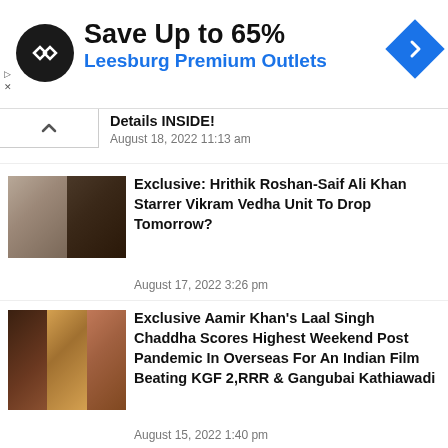[Figure (infographic): Advertisement banner: Save Up to 65% Leesburg Premium Outlets with logo and navigation icon]
Details INSIDE!
August 18, 2022 11:13 am
[Figure (photo): Thumbnail showing Hrithik Roshan and Saif Ali Khan for Vikram Vedha article]
Exclusive: Hrithik Roshan-Saif Ali Khan Starrer Vikram Vedha Unit To Drop Tomorrow?
August 17, 2022 3:26 pm
[Figure (photo): Thumbnail showing scenes from Laal Singh Chaddha with Aamir Khan and Kareena]
Exclusive Aamir Khan's Laal Singh Chaddha Scores Highest Weekend Post Pandemic In Overseas For An Indian Film Beating KGF 2,RRR & Gangubai Kathiawadi
August 15, 2022 1:40 pm